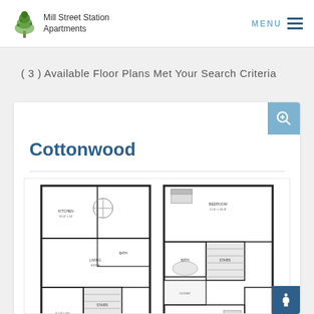Mill Street Station Apartments
( 3 ) Available Floor Plans Met Your Search Criteria
Cottonwood
[Figure (engineering-diagram): Floor plan schematic of the Cottonwood apartment unit showing two-level layout with rooms, stairs, and dimensions labeled]